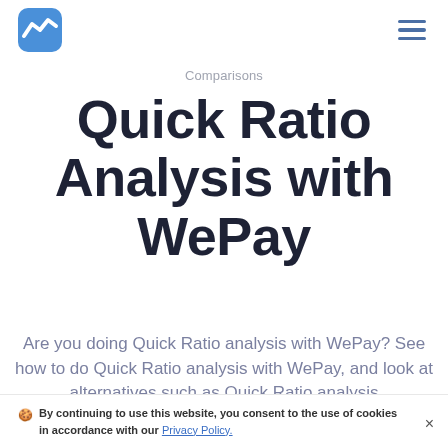Comparisons
Quick Ratio Analysis with WePay
Are you doing Quick Ratio analysis with WePay? See how to do Quick Ratio analysis with WePay, and look at alternatives such as Quick Ratio analysis
🍪  By continuing to use this website, you consent to the use of cookies in accordance with our Privacy Policy.